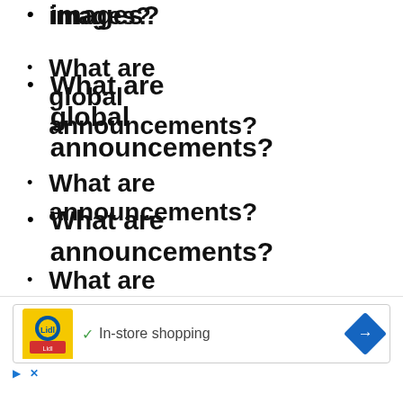images?
What are global announcements?
What are announcements?
What are sticky topics?
What are locked
[Figure (other): Advertisement banner for Lidl in-store shopping with navigation arrow icon]